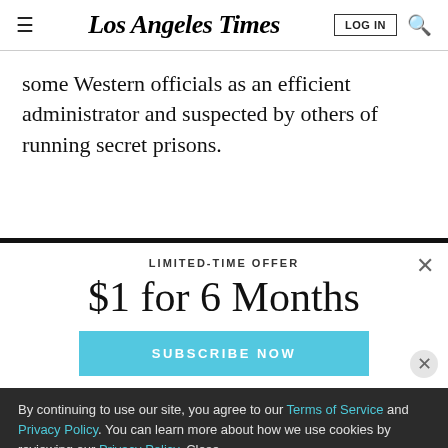Los Angeles Times
some Western officials as an efficient administrator and suspected by others of running secret prisons.
LIMITED-TIME OFFER
$1 for 6 Months
SUBSCRIBE NOW
By continuing to use our site, you agree to our Terms of Service and Privacy Policy. You can learn more about how we use cookies by reviewing our Privacy Policy. Close